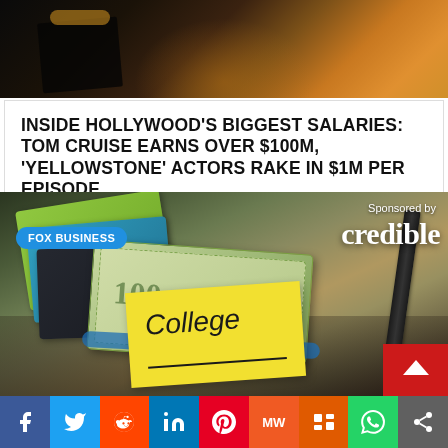[Figure (photo): Dark moody cinematic photo with warm orange glow, appears to be a movie still]
INSIDE HOLLYWOOD'S BIGGEST SALARIES: TOM CRUISE EARNS OVER $100M, 'YELLOWSTONE' ACTORS RAKE IN $1M PER EPISODE
BY CATCH7474   1 MONTH AGO
[Figure (photo): Sponsored advertisement by Credible via Fox Business showing college funds money with sticky note labeled College]
[Figure (other): Social media share bar with Facebook, Twitter, Reddit, LinkedIn, Pinterest, MixedWith, Mix, WhatsApp, and share buttons]